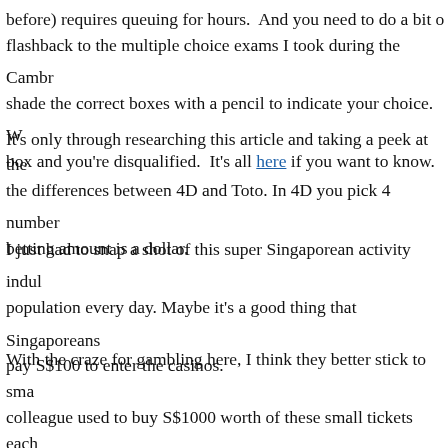before) requires queuing for hours.  And you need to do a bit of flashback to the multiple choice exams I took during the Cambridge shade the correct boxes with a pencil to indicate your choice.  W box and you're disqualified.  It's all here if you want to know.
It's only through researching this article and taking a peek at the the differences between 4D and Toto. In 4D you pick 4 numbers betting amount is a dollar.
I just had to snap a shot of this super Singaporean activity indul population every day. Maybe it's a good thing that Singaporeans pay S$100 to enter the casinos.
With the craze for gambling here, I think they better stick to sma colleague used to buy S$1000 worth of these small tickets each of cards and ask me to pick a few and that was how he chose his when he passed me a plastic bag of his winnings to look after. H was in the bag.  I had to pick my jaw off the ground. I am glad b generous. In my encounters with Singaporeans I find that those